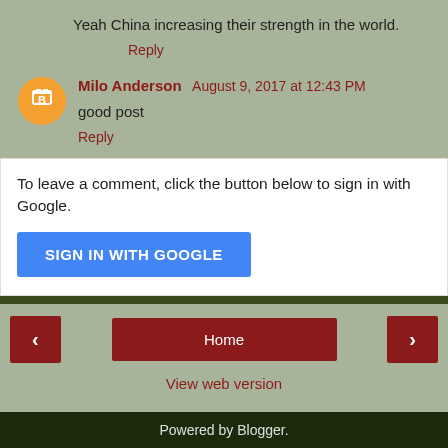Yeah China increasing their strength in the world.
Reply
Milo Anderson  August 9, 2017 at 12:43 PM
good post
Reply
To leave a comment, click the button below to sign in with Google.
SIGN IN WITH GOOGLE
Home
View web version
Powered by Blogger.